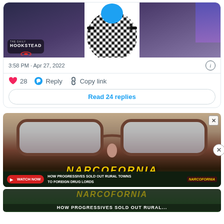[Figure (screenshot): Tweet card showing a person in a black-and-white checkered outfit with a blue circle for head, Hookstead logo in bottom-left of image]
3:58 PM · Apr 27, 2022
♥ 28  Reply  Copy link
Read 24 replies
[Figure (screenshot): Advertisement for Narcofornia documentary showing person wearing glasses and text: HOW PROGRESSIVES SOLD OUT RURAL TOWNS TO FOREIGN DRUG LORDS, WATCH NOW button, NARCOFORNIA logo]
[Figure (screenshot): Second smaller Narcofornia ad at bottom: HOW PROGRESSIVES SOLD OUT RURAL]